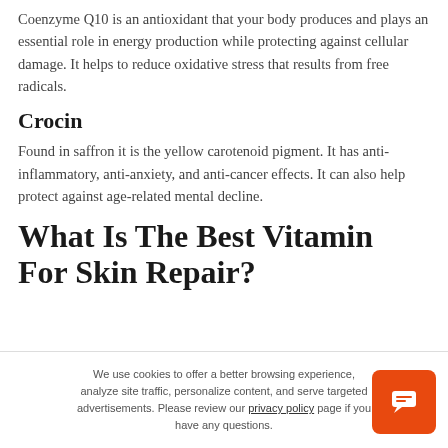Coenzyme Q10 is an antioxidant that your body produces and plays an essential role in energy production while protecting against cellular damage. It helps to reduce oxidative stress that results from free radicals.
Crocin
Found in saffron it is the yellow carotenoid pigment. It has anti-inflammatory, anti-anxiety, and anti-cancer effects. It can also help protect against age-related mental decline.
What Is The Best Vitamin For Skin Repair?
We use cookies to offer a better browsing experience, analyze site traffic, personalize content, and serve targeted advertisements. Please review our privacy policy page if you have any questions.